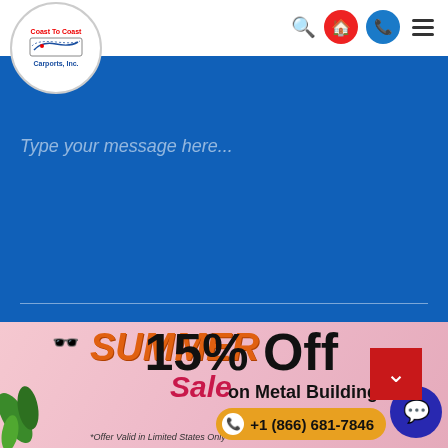[Figure (logo): Coast To Coast Carports Inc logo in circle]
[Figure (screenshot): Navigation icons: search, home (red circle), phone (blue circle), hamburger menu]
Type your message here...
[Figure (other): Submit button with arrow on blue background form area]
[Figure (other): Red downward chevron button]
[Figure (infographic): Summer Sale banner: SUMMER Sale 15% Off on Metal Buildings *Offer Valid in Limited States Only, +1 (866) 681-7846]